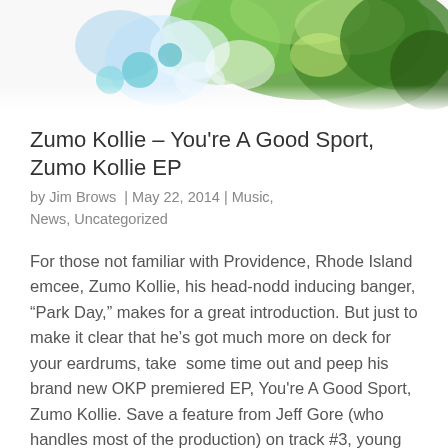[Figure (photo): Partial image of colorful foliage and flowers (blue, green, white tones) cropped at the top of the page]
Zumo Kollie – You're A Good Sport, Zumo Kollie EP
by Jim Brows  |  May 22, 2014  |  Music, News, Uncategorized
For those not familiar with Providence, Rhode Island emcee, Zumo Kollie, his head-nodd inducing banger, “Park Day,” makes for a great introduction. But just to make it clear that he’s got much more on deck for your eardrums, take  some time out and peep his brand new OKP premiered EP, You're A Good Sport, Zumo Kollie. Save a feature from Jeff Gore (who handles most of the production) on track #3, young Zumo handles the bars for dolo on this 6 song